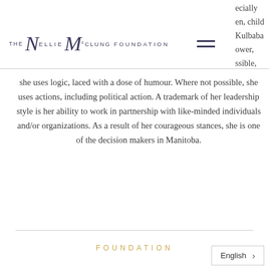THE NELLIE McCLUNG FOUNDATION
ecially en, child Kulbaba ower, ssible, she uses logic, laced with a dose of humour. Where not possible, she uses actions, including political action. A trademark of her leadership style is her ability to work in partnership with like-minded individuals and/or organizations. As a result of her courageous stances, she is one of the decision makers in Manitoba.
FOUNDATION
English